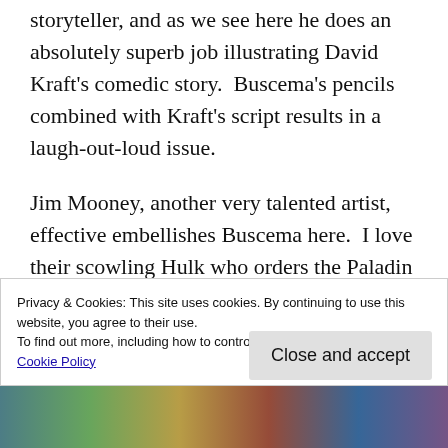storyteller, and as we see here he does an absolutely superb job illustrating David Kraft’s comedic story.  Buscema’s pencils combined with Kraft’s script results in a laugh-out-loud issue.
Jim Mooney, another very talented artist, effective embellishes Buscema here.  I love their scowling Hulk who orders the Paladin to “Drink it black!” The disgusted expression on
Privacy & Cookies: This site uses cookies. By continuing to use this website, you agree to their use.
To find out more, including how to control cookies, see here:
Cookie Policy
Close and accept
[Figure (photo): Partial view of a comic book image strip at the bottom of the page]